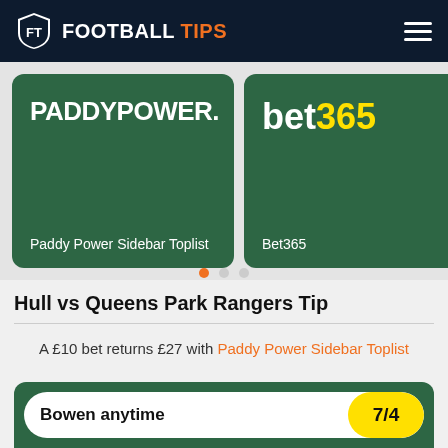FOOTBALL TIPS
[Figure (logo): Paddy Power Sidebar Toplist card - dark green card with PADDYPOWER. logo in white text]
[Figure (logo): Bet365 card - dark green card with bet365 logo (bet in white, 365 in yellow)]
Hull vs Queens Park Rangers Tip
A £10 bet returns £27 with Paddy Power Sidebar Toplist
Bowen anytime 7/4
Bet £20 and get it back as cash if it